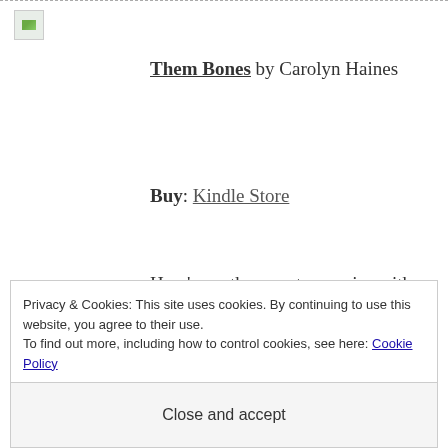[Figure (photo): Small broken image icon placeholder for book cover]
Them Bones by Carolyn Haines
Buy: Kindle Store
Here’s another mystery series with a fantastic element: in this case, our sleuth is advised by
Privacy & Cookies: This site uses cookies. By continuing to use this website, you agree to their use.
To find out more, including how to control cookies, see here: Cookie Policy
Close and accept
are now complete on